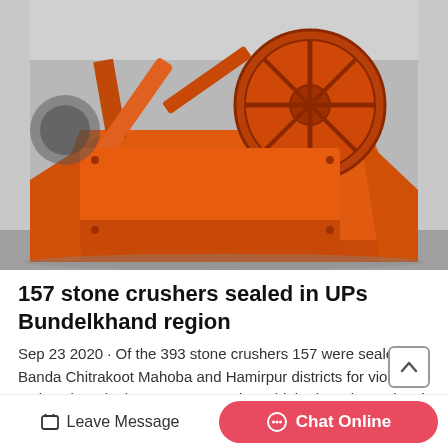[Figure (photo): Orange industrial stone crusher machine photographed indoors against a grey background. The machine is large with a circular screen/wheel mechanism visible on the right side.]
157 stone crushers sealed in UPs Bundelkhand region
Sep 23 2020 · Of the 393 stone crushers 157 were sealed in Banda Chitrakoot Mahoba and Hamirpur districts for violating various laws in the past two months said the boards Regional
Leave Message   Chat Online